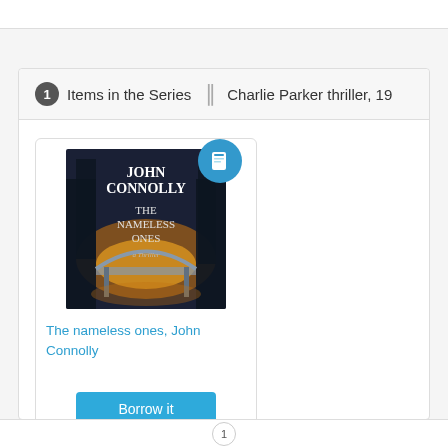<> Embed
1 Items in the Series ||| Charlie Parker thriller, 19
[Figure (illustration): Book cover for 'The Nameless Ones' by John Connolly — dark atmospheric image with a bridge over water at dusk, with text overlay. An ebook badge (blue circle with book icon) is in the top right corner.]
The nameless ones, John Connolly
Borrow it